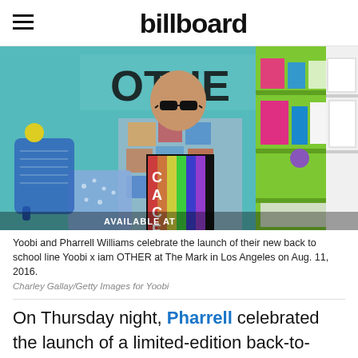billboard
[Figure (photo): Pharrell Williams wearing a colorful plaid jacket and graphic t-shirt, holding a bag, standing in front of school supplies display with green shelving unit. Text at bottom reads 'AVAILABLE AT AND YOOBI.COM']
Yoobi and Pharrell Williams celebrate the launch of their new back to school line Yoobi x iam OTHER at The Mark in Los Angeles on Aug. 11, 2016.
Charley Gallay/Getty Images for Yoobi
On Thursday night, Pharrell celebrated the launch of a limited-edition back-to-school collection created in